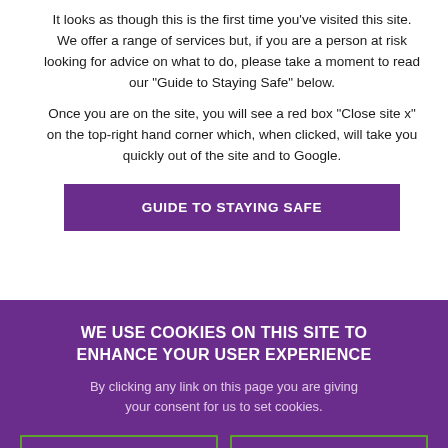It looks as though this is the first time you've visited this site. We offer a range of services but, if you are a person at risk looking for advice on what to do, please take a moment to read our "Guide to Staying Safe" below.
Once you are on the site, you will see a red box "Close site x" on the top-right hand corner which, when clicked, will take you quickly out of the site and to Google.
GUIDE TO STAYING SAFE
online
WE USE COOKIES ON THIS SITE TO ENHANCE YOUR USER EXPERIENCE
By clicking any link on this page you are giving your consent for us to set cookies.
OK, I AGREE
NO, GIVE ME MORE INFO